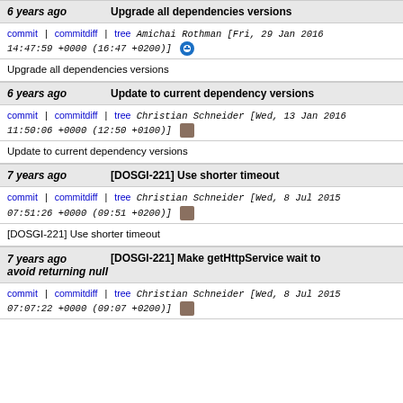6 years ago | Upgrade all dependencies versions
commit | commitdiff | tree   Amichai Rothman [Fri, 29 Jan 2016 14:47:59 +0000 (16:47 +0200)]
Upgrade all dependencies versions
6 years ago | Update to current dependency versions
commit | commitdiff | tree   Christian Schneider [Wed, 13 Jan 2016 11:50:06 +0000 (12:50 +0100)]
Update to current dependency versions
7 years ago | [DOSGI-221] Use shorter timeout
commit | commitdiff | tree   Christian Schneider [Wed, 8 Jul 2015 07:51:26 +0000 (09:51 +0200)]
[DOSGI-221] Use shorter timeout
7 years ago | [DOSGI-221] Make getHttpService wait to avoid returning null
commit | commitdiff | tree   Christian Schneider [Wed, 8 Jul 2015 07:07:22 +0000 (09:07 +0200)]